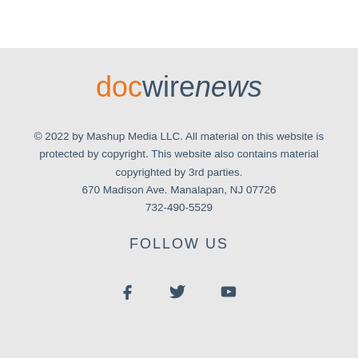[Figure (logo): docwirenews logo with 'doc' in orange, 'wire' in dark slate, 'news' in dark slate italic]
© 2022 by Mashup Media LLC. All material on this website is protected by copyright. This website also contains material copyrighted by 3rd parties. 670 Madison Ave. Manalapan, NJ 07726 732-490-5529
FOLLOW US
[Figure (illustration): Three social media icons: Facebook (f), Twitter (bird), YouTube (play button)]